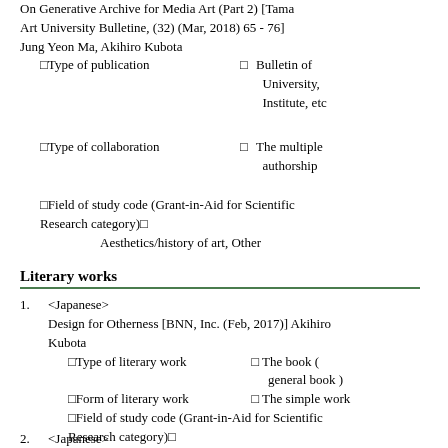On Generative Archive for Media Art (Part 2) [Tama Art University Bulletine, (32) (Mar, 2018) 65 - 76] Jung Yeon Ma, Akihiro Kubota
Type of publication: Bulletin of University, Institute, etc
Type of collaboration: The multiple authorship
Field of study code (Grant-in-Aid for Scientific Research category): Aesthetics/history of art, Other
Literary works
1. <Japanese> Design for Otherness [BNN, Inc. (Feb, 2017)] Akihiro Kubota
Type of literary work: The book ( general book )
Form of literary work: The simple work
Field of study code (Grant-in-Aid for Scientific Research category)
2. <Japanese>